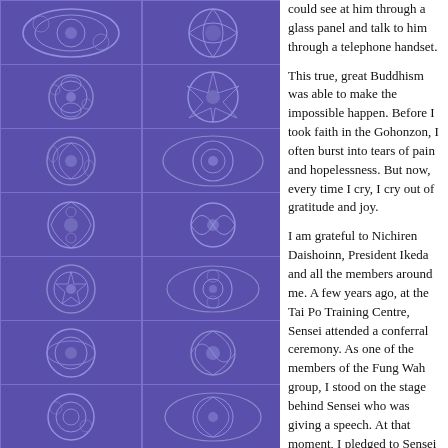[Figure (illustration): Decorative left panel with repeating ornamental circular medallion patterns on a purple/blue background arranged in a grid of two columns and seven rows]
could see at him through a glass panel and talk to him through a telephone handset.
This true, great Buddhism was able to make the impossible happen. Before I took faith in the Gohonzon, I often burst into tears of pain and hopelessness. But now, every time I cry, I cry out of gratitude and joy.
I am grateful to Nichiren Daishoinn, President Ikeda and all the members around me. A few years ago, at the Tai Po Training Centre, Sensei attended a conferral ceremony. As one of the members of the Fung Wah group, I stood on the stage behind Sensei who was giving a speech. At that moment, I pledged to Sensei and the Gohonzon that one day I would bring my father to this training centre and for our family to attend a training course together there.
I still have to work on this, although my father often goes to the kaikan to chant. The happiest thing is that we get along harmoniously with our father. Every time my sister and I go out with him